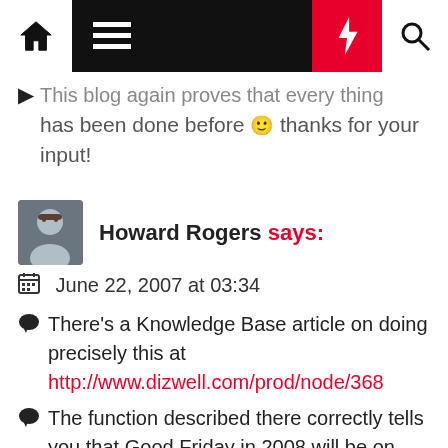Navigation bar with home, menu, lightning, and search icons
This blog again proves that everything has been done before 🙂 thanks for your input!
Howard Rogers says:
June 22, 2007 at 03:34
There's a Knowledge Base article on doing precisely this at http://www.dizwell.com/prod/node/368
The function described there correctly tells you that Good Friday in 2008 will be on 21st March.